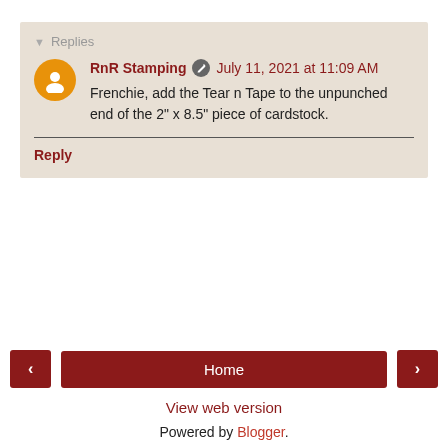Replies
RnR Stamping   July 11, 2021 at 11:09 AM
Frenchie, add the Tear n Tape to the unpunched end of the 2" x 8.5" piece of cardstock.
Reply
Home
View web version
Powered by Blogger.